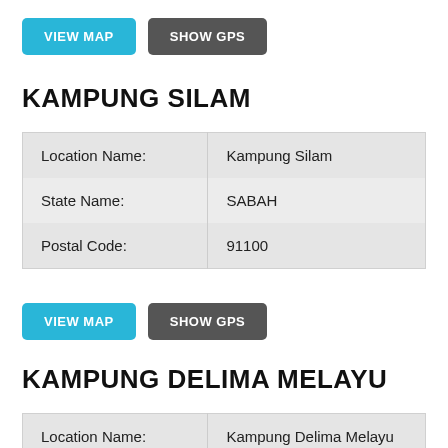VIEW MAP | SHOW GPS
KAMPUNG SILAM
| Location Name: | Kampung Silam |
| State Name: | SABAH |
| Postal Code: | 91100 |
VIEW MAP | SHOW GPS
KAMPUNG DELIMA MELAYU
| Location Name: | Kampung Delima Melayu |